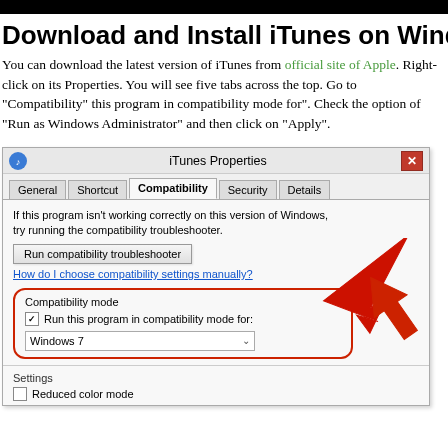Download and Install iTunes on Wind
You can download the latest version of iTunes from official site of Apple. Right-click on its Properties. You will see five tabs across the top. Go to "Compatibility" this program in compatibility mode for". Check the option of "Run as Windows Administrator" and then click on "Apply".
[Figure (screenshot): iTunes Properties dialog window showing the Compatibility tab. The dialog has tabs: General, Shortcut, Compatibility (active), Security, Details. Inside the Compatibility tab: text reading 'If this program isn't working correctly on this version of Windows, try running the compatibility troubleshooter.' A button 'Run compatibility troubleshooter'. A link 'How do I choose compatibility settings manually?'. A red-circled and red-arrow-highlighted section labeled 'Compatibility mode' with a checked checkbox 'Run this program in compatibility mode for:' and a dropdown set to 'Windows 7'. Below is a Settings section with 'Reduced color mode' checkbox.]